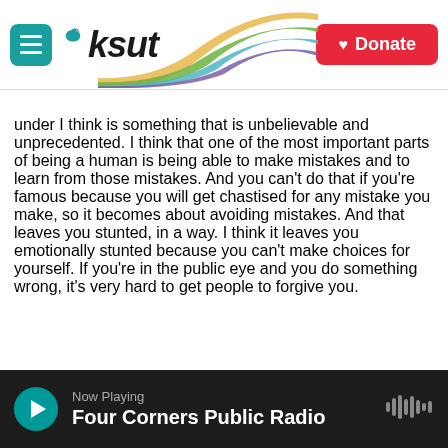KSUT | Donate
under I think is something that is unbelievable and unprecedented. I think that one of the most important parts of being a human is being able to make mistakes and to learn from those mistakes. And you can't do that if you're famous because you will get chastised for any mistake you make, so it becomes about avoiding mistakes. And that leaves you stunted, in a way. I think it leaves you emotionally stunted because you can't make choices for yourself. If you're in the public eye and you do something wrong, it's very hard to get people to forgive you.
Now Playing
Four Corners Public Radio